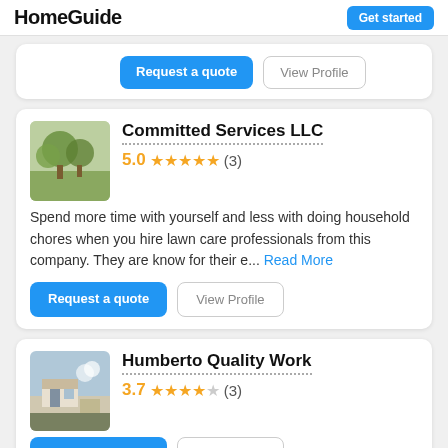HomeGuide  Get started
[Figure (screenshot): Partial top card with Request a quote and View Profile buttons visible at crop top]
Committed Services LLC
5.0 ★★★★★ (3)
Spend more time with yourself and less with doing household chores when you hire lawn care professionals from this company. They are know for their e... Read More
Request a quote  View Profile
Humberto Quality Work
3.7 ★★★★☆ (3)
Request a quote  View Profile